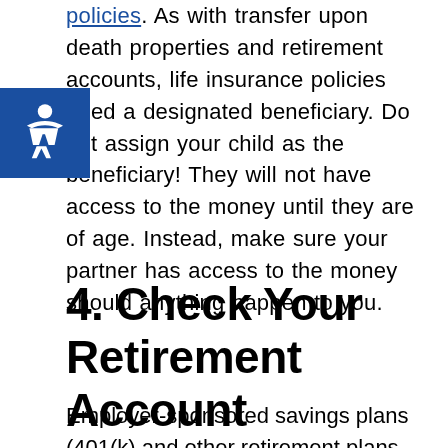policies. As with transfer upon death properties and retirement accounts, life insurance policies need a designated beneficiary. Do not assign your child as the beneficiary! They will not have access to the money until they are of age. Instead, make sure your partner has access to the money should anything happen to you.
4. Check Your Retirement Account
Employer-sponsored savings plans (401(k) and other retirement plans